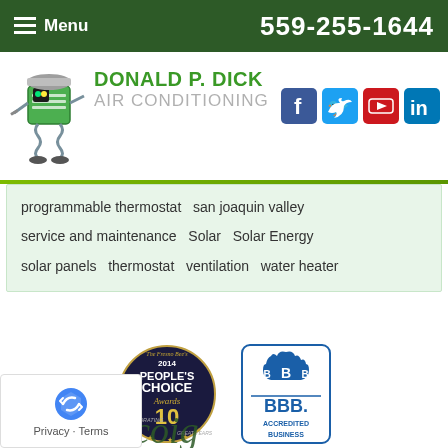Menu  559-255-1644
[Figure (logo): Donald P. Dick Air Conditioning mascot logo - green AC unit character with hard hat]
DONALD P. DICK AIR CONDITIONING
[Figure (logo): Social media icons: Facebook, Twitter, YouTube, LinkedIn]
programmable thermostat  san joaquin valley  service and maintenance  Solar  Solar Energy  solar panels  thermostat  ventilation  water heater
[Figure (logo): The Fresno Bee's 2014 People's Choice Awards - 10 year badge]
[Figure (logo): BBB Accredited Business logo]
[Figure (logo): Script text logo partially visible at bottom]
[Figure (logo): reCAPTCHA Privacy - Terms overlay in bottom left corner]